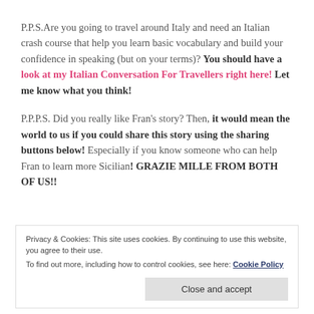P.P.S.Are you going to travel around Italy and need an Italian crash course that help you learn basic vocabulary and build your confidence in speaking (but on your terms)? You should have a look at my Italian Conversation For Travellers right here! Let me know what you think!
P.P.P.S. Did you really like Fran's story? Then, it would mean the world to us if you could share this story using the sharing buttons below! Especially if you know someone who can help Fran to learn more Sicilian! GRAZIE MILLE FROM BOTH OF US!!
Privacy & Cookies: This site uses cookies. By continuing to use this website, you agree to their use. To find out more, including how to control cookies, see here: Cookie Policy